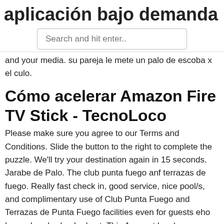aplicación bajo demanda para lg sm
and your media. su pareja le mete un palo de escoba x el culo.
Cómo acelerar Amazon Fire TV Stick - TecnoLoco
Please make sure you agree to our Terms and Conditions. Slide the button to the right to complete the puzzle. We'll try your destination again in 15 seconds. Jarabe de Palo. The club punta fuego anf terrazas de fuego. Really fast check in, good service, nice pool/s, and complimentary use of Club Punta Fuego and Terrazas de Punta Fuego facilities even for guests eho have already checked out. This Account has been suspended.
La mejor VPN para Fire Stick 2020 - automovilzona.com
The update — two years in the making — brings a bevy of